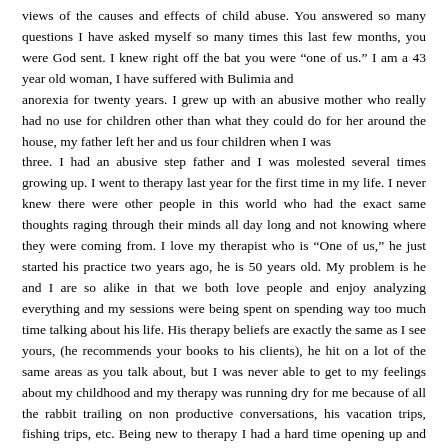views of the causes and effects of child abuse. You answered so many questions I have asked myself so many times this last few months, you were God sent. I knew right off the bat you were “one of us.” I am a 43 year old woman, I have suffered with Bulimia and anorexia for twenty years. I grew up with an abusive mother who really had no use for children other than what they could do for her around the house, my father left her and us four children when I was three. I had an abusive step father and I was molested several times growing up. I went to therapy last year for the first time in my life. I never knew there were other people in this world who had the exact same thoughts raging through their minds all day long and not knowing where they were coming from. I love my therapist who is “One of us,” he just started his practice two years ago, he is 50 years old. My problem is he and I are so alike in that we both love people and enjoy analyzing everything and my sessions were being spent on spending way too much time talking about his life. His therapy beliefs are exactly the same as I see yours, (he recommends your books to his clients), he hit on a lot of the same areas as you talk about, but I was never able to get to my feelings about my childhood and my therapy was running dry for me because of all the rabbit trailing on non productive conversations, his vacation trips, fishing trips, etc. Being new to therapy I had a hard time opening up and trusting him at first and he was trying to get me to feel comfortable, but I think there was way too much time being used for his stories. Your book THE DRAMA talks about being